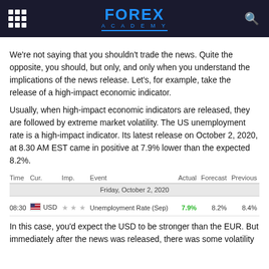FOREX ACADEMY
We're not saying that you shouldn't trade the news. Quite the opposite, you should, but only, and only when you understand the implications of the news release. Let's, for example, take the release of a high-impact economic indicator.
Usually, when high-impact economic indicators are released, they are followed by extreme market volatility. The US unemployment rate is a high-impact indicator. Its latest release on October 2, 2020, at 8.30 AM EST came in positive at 7.9% lower than the expected 8.2%.
| Time | Cur. | Imp. | Event | Actual | Forecast | Previous |
| --- | --- | --- | --- | --- | --- | --- |
| Friday, October 2, 2020 |
| 08:30 | USD | ★★★ | Unemployment Rate (Sep) | 7.9% | 8.2% | 8.4% |
In this case, you'd expect the USD to be stronger than the EUR. But immediately after the news was released, there was some volatility